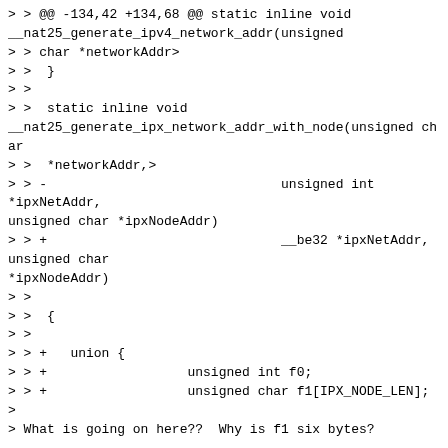> > @@ -134,42 +134,68 @@ static inline void
__nat25_generate_ipv4_network_addr(unsigned
> > char *networkAddr>
> >  }
> >
> >  static inline void
__nat25_generate_ipx_network_addr_with_node(unsigned char
> >  *networkAddr,>
> > -                              unsigned int
*ipxNetAddr,
unsigned char *ipxNodeAddr)
> > +                              __be32 *ipxNetAddr,
unsigned char
*ipxNodeAddr)
> >
> >  {
> >
> > +   union {
> > +                  unsigned int f0;
> > +                  unsigned char f1[IPX_NODE_LEN];
>
> What is going on here??  Why is f1 six bytes?
Here I've been misled by something else. I agree that
f1 should be four bytes.
> > +       } addr;
> > +
> >